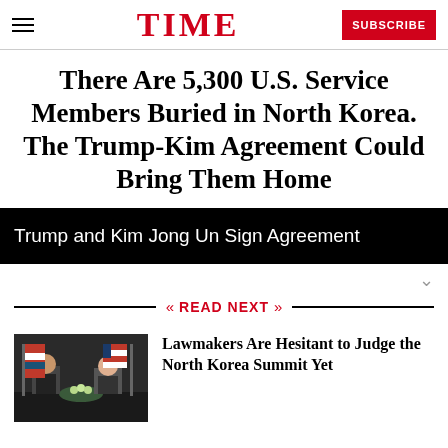TIME | SUBSCRIBE
There Are 5,300 U.S. Service Members Buried in North Korea. The Trump-Kim Agreement Could Bring Them Home
Trump and Kim Jong Un Sign Agreement
READ NEXT
[Figure (photo): Photo of Trump and Kim Jong Un signing agreement at a table with flags]
Lawmakers Are Hesitant to Judge the North Korea Summit Yet